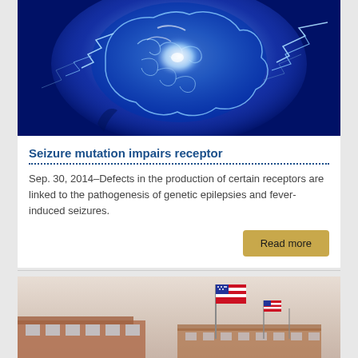[Figure (photo): Stylized glowing brain with lightning bolts on dark blue background, medical/neuroscience illustration]
Seizure mutation impairs receptor
Sep. 30, 2014–Defects in the production of certain receptors are linked to the pathogenesis of genetic epilepsies and fever-induced seizures.
[Figure (photo): Photograph of a brick hospital or medical building exterior with American flag on flagpole against a hazy sky]